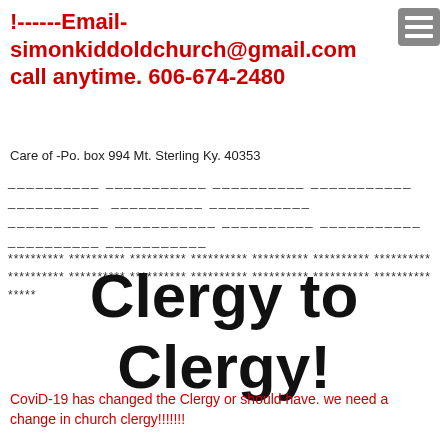!------Email- simonkiddoldchurch@gmail.com call anytime. 606-674-2480
Care of -Po. box 994 Mt. Sterling Ky. 40353
__________ ___________ __________ ___________ __________ __________ ___________ __________ ___________ __________ ********** ********** ********** ********** ********** ********** ********** ********** ********** ********** *****
Clergy to Clergy!
CoviD-19 has changed the Clergy or should have. we need a change in church clergy!!!!!!!